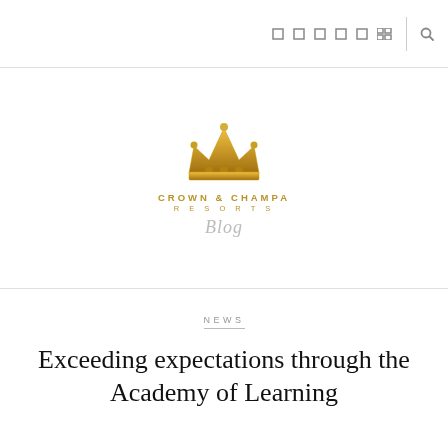[Navigation icons and search]
[Figure (logo): Crown & Champa Resorts Blog logo — golden crown icon above text 'CROWN & CHAMPA RESORTS' and italic 'Blog']
NEWS
Exceeding expectations through the Academy of Learning